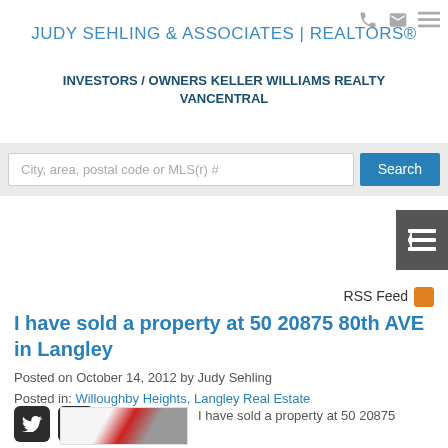JUDY SEHLING & ASSOCIATES | REALTORS®
INVESTORS / OWNERS KELLER WILLIAMS REALTY VANCENTRAL
City, area, postal code or MLS(r) #
I have sold a property at 50 20875 80th AVE in Langley
Posted on October 14, 2012 by Judy Sehling
Posted in: Willoughby Heights, Langley Real Estate
I have sold a property at 50 20875